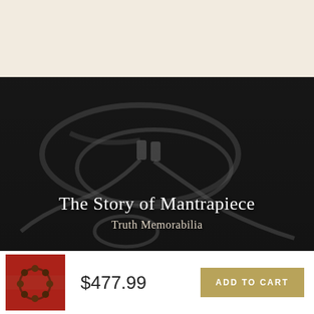[Figure (photo): Dark background top bar area with warm off-white/beige color]
[Figure (photo): Dark moody photograph of white earphones/cables and a beaded bracelet on a dark textured surface, with title text overlay]
The Story of Mantrapiece
Truth Memorabilia
[Figure (photo): Small thumbnail product image showing a dark red/brown wooden bead bracelet on red fabric background]
$477.99
ADD TO CART